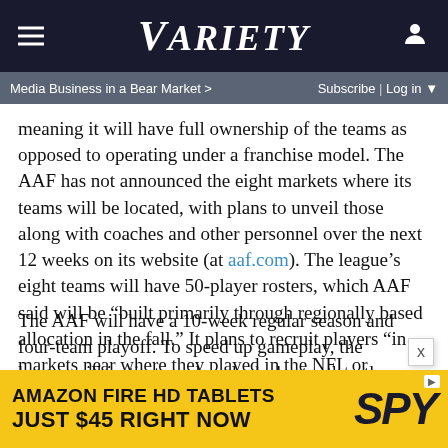VARIETY
Media Business in a Bear Market > | Subscribe | Log in
meaning it will have full ownership of the teams as opposed to operating under a franchise model. The AAF has not announced the eight markets where its teams will be located, with plans to unveil those along with coaches and other personnel over the next 12 weeks on its website (at aaf.com). The league's eight teams will have 50-player rosters, which AAF said will be “built primarily through regionally based allocation in the fall.” It plans to recruit players “in markets near where they played in the NFL or college.”
The AAF will have a 10-week regular season and four-team playoff. To speed up gameplay, the league will institute a play clock shorter than the NFL’s 40-second break, have fewer ad breaks, and require two-point conversion tries after every
[Figure (screenshot): Amazon Fire HD Tablets advertisement banner - AMAZON FIRE HD TABLETS JUST $45 RIGHT NOW with SPY logo]